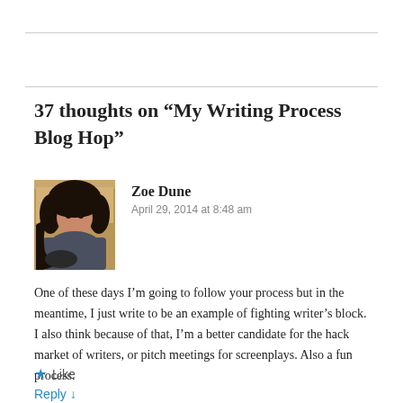37 thoughts on “My Writing Process Blog Hop”
[Figure (photo): Profile photo of Zoe Dune, a person with dark hair sitting in a chair]
Zoe Dune
April 29, 2014 at 8:48 am
One of these days I’m going to follow your process but in the meantime, I just write to be an example of fighting writer’s block. I also think because of that, I’m a better candidate for the hack market of writers, or pitch meetings for screenplays. Also a fun process.
★ Like
Reply ↓